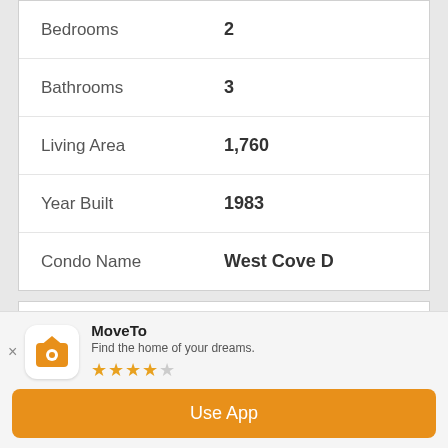| Property | Value |
| --- | --- |
| Bedrooms | 2 |
| Bathrooms | 3 |
| Living Area | 1,760 |
| Year Built | 1983 |
| Condo Name | West Cove D |
Property Description
Just in time for summer! This tri-level, end-unit
MoveTo
Find the home of your dreams.
★★★★☆
Use App